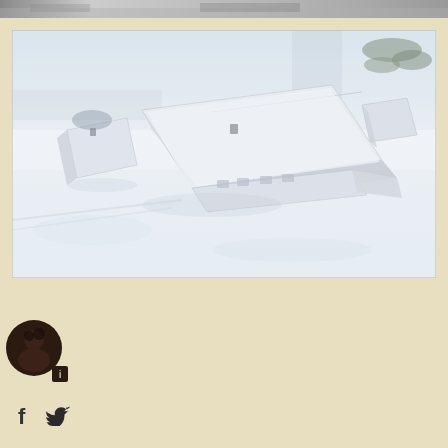[Figure (photo): Partial view of a black and white photograph at the top of the page, cropped — appears to show a building or landscape scene.]
[Figure (photo): Aerial photograph of snow-covered buildings and surrounding snowy landscape. Shows several structures with white rooftops covered in deep snow, viewed from above at an angle.]
[Figure (photo): Small circular avatar/profile photo of a person, partially overlapping with a small icon, positioned in the lower left area of the page.]
[Figure (other): Social media icons: Facebook 'f' icon and Twitter bird icon, positioned in the lower left area.]